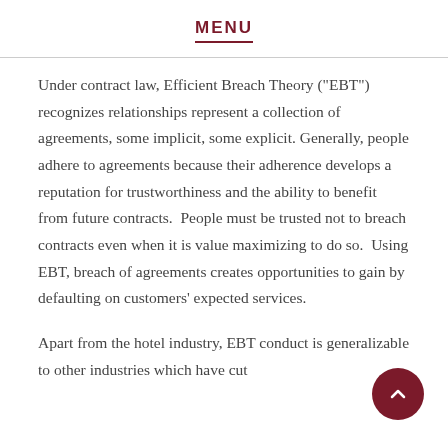MENU
Under contract law, Efficient Breach Theory ("EBT") recognizes relationships represent a collection of agreements, some implicit, some explicit. Generally, people adhere to agreements because their adherence develops a reputation for trustworthiness and the ability to benefit from future contracts.  People must be trusted not to breach contracts even when it is value maximizing to do so.  Using EBT, breach of agreements creates opportunities to gain by defaulting on customers' expected services.
Apart from the hotel industry, EBT conduct is generalizable to other industries which have cut positions where their clients that need...